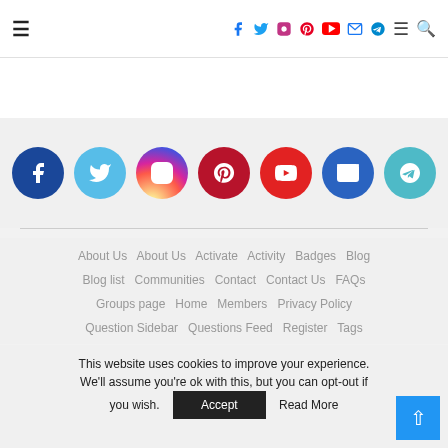Navigation bar with hamburger menu, social media icons (Facebook, Twitter, Instagram, Pinterest, YouTube, Email, Telegram), menu, and search
[Figure (infographic): Row of 7 circular social media icons: Facebook (dark blue), Twitter (light blue), Instagram (gradient), Pinterest (dark red), YouTube (red), Email (blue), Telegram (teal)]
About Us   About Us   Activate   Activity   Badges   Blog   Blog list   Communities   Contact   Contact Us   FAQs   Groups page   Home   Members   Privacy Policy   Question Sidebar   Questions Feed   Register   Tags
This website uses cookies to improve your experience. We'll assume you're ok with this, but you can opt-out if you wish.
Accept   Read More